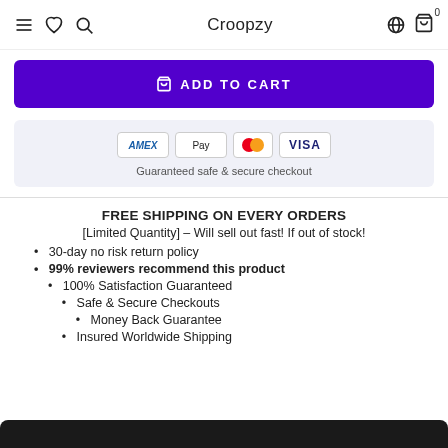Croopzy
[Figure (screenshot): Add to cart button with purple background and cart icon]
[Figure (infographic): Payment badges: Amex, Apple Pay, Mastercard, Visa. Text: Guaranteed safe & secure checkout]
FREE SHIPPING ON EVERY ORDERS
[Limited Quantity] – Will sell out fast! If out of stock!
30-day no risk return policy
99% reviewers recommend this product
100% Satisfaction Guaranteed
Safe & Secure Checkouts
Money Back Guarantee
Insured Worldwide Shipping